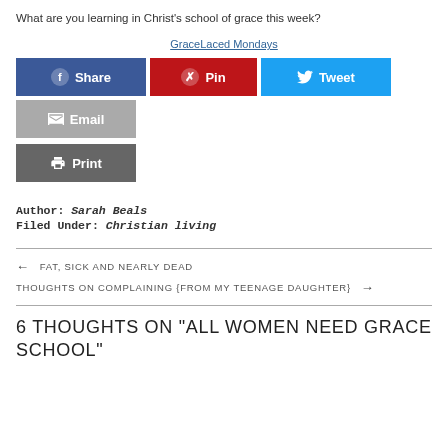What are you learning in Christ's school of grace this week?
[Figure (other): GraceLaced Mondays link/image placeholder]
[Figure (infographic): Social sharing buttons: Share (Facebook), Pin (Pinterest), Tweet (Twitter), Email, Print]
Author: Sarah Beals
Filed Under: Christian living
← FAT, SICK AND NEARLY DEAD
THOUGHTS ON COMPLAINING {FROM MY TEENAGE DAUGHTER} →
6 THOUGHTS ON "ALL WOMEN NEED GRACE SCHOOL"